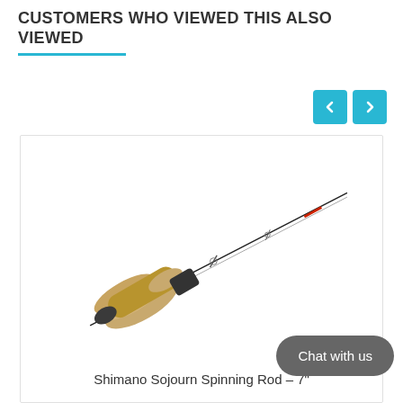CUSTOMERS WHO VIEWED THIS ALSO VIEWED
[Figure (photo): Shimano Sojourn Spinning Rod displayed diagonally with cork grip handle on the left and thin rod tip extending to the upper right]
Shimano Sojourn Spinning Rod – 7"
☆☆☆☆☆
R419.00
Chat with us